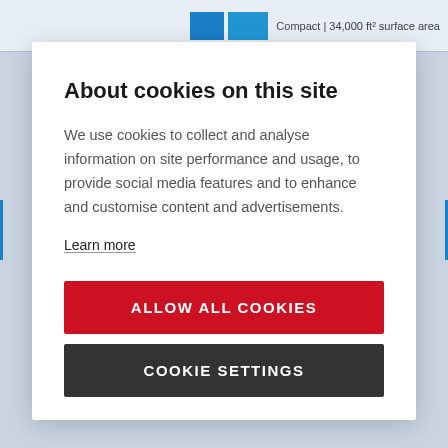Compact | 34,000 ft² surface area
About cookies on this site
We use cookies to collect and analyse information on site performance and usage, to provide social media features and to enhance and customise content and advertisements.
Learn more
ALLOW ALL COOKIES
COOKIE SETTINGS